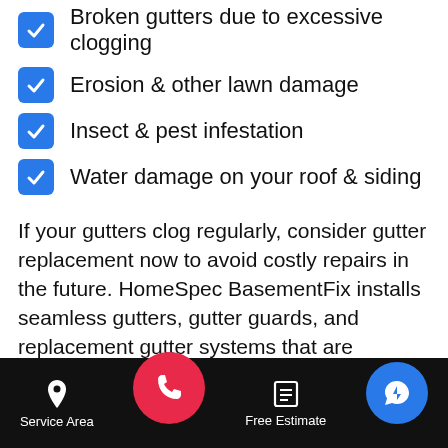Broken gutters due to excessive clogging
Erosion & other lawn damage
Insect & pest infestation
Water damage on your roof & siding
If your gutters clog regularly, consider gutter replacement now to avoid costly repairs in the future. HomeSpec BasementFix installs seamless gutters, gutter guards, and replacement gutter systems that are guaranteed to never clog or pull away from your home. Get in touch today to schedule your free estimate throughout Sterling Heights, Ann Arbor, Warren, and nearby!
Gutter Shutter: Michigan's favorite
Service Area | Free Estimate